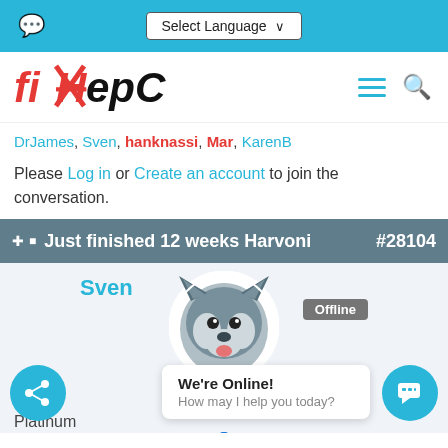Select Language
[Figure (logo): fixHepC logo — stylized red italic text with an X mark]
DrJames, Sven, hanknassi, Mar, KarenB
Please Log in or Create an account to join the conversation.
Just finished 12 weeks Harvoni #28104
[Figure (photo): Profile photo of user Sven — a husky dog, circular avatar. User is shown as Offline. Status: Platinum. Thank you received: 1212]
We're Online! How may I help you today?